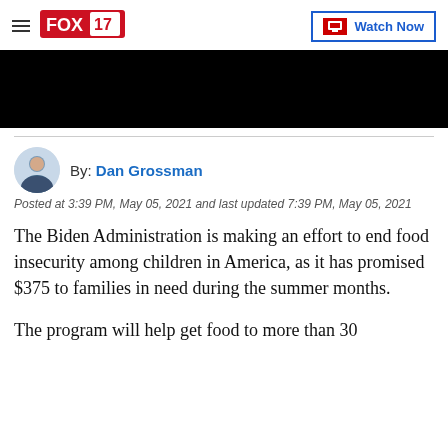FOX 17 WEST MICHIGAN — Watch Now
[Figure (photo): Black video player block]
By: Dan Grossman
Posted at 3:39 PM, May 05, 2021 and last updated 7:39 PM, May 05, 2021
The Biden Administration is making an effort to end food insecurity among children in America, as it has promised $375 to families in need during the summer months.
The program will help get food to more than 30